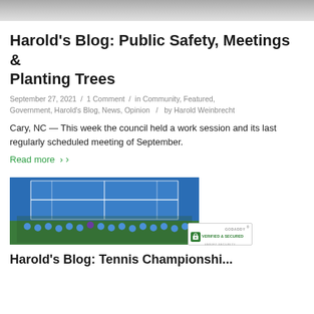[Figure (photo): Top of page: gray/asphalt surface photo, partially visible]
Harold's Blog: Public Safety, Meetings & Planting Trees
September 27, 2021 / 1 Comment / in Community, Featured, Government, Harold's Blog, News, Opinion / by Harold Weinbrecht
Cary, NC — This week the council held a work session and its last regularly scheduled meeting of September.
Read more ›
[Figure (photo): Group photo of children and adults on a blue tennis court, aerial/elevated angle. GoDaddy Verified & Secured badge in bottom right corner.]
Harold's Blog: Tennis Championships...